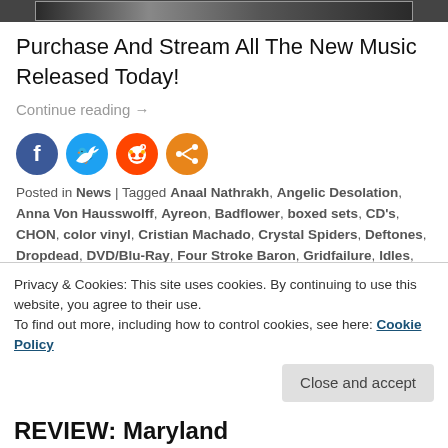[Figure (photo): Top partial image strip showing a dark band/music related photo]
Purchase And Stream All The New Music Released Today!
Continue reading →
[Figure (infographic): Social media share icons: Facebook (dark blue), Twitter (light blue), Reddit (orange-red), Share (orange)]
Posted in News | Tagged Anaal Nathrakh, Angelic Desolation, Anna Von Hausswolff, Ayreon, Badflower, boxed sets, CD's, CHON, color vinyl, Cristian Machado, Crystal Spiders, Deftones, Dropdead, DVD/Blu-Ray, Four Stroke Baron, Gridfailure, Idles, Kataklysm,
Privacy & Cookies: This site uses cookies. By continuing to use this website, you agree to their use.
To find out more, including how to control cookies, see here: Cookie Policy
Close and accept
REVIEW: Maryland